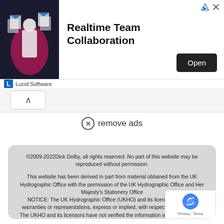[Figure (screenshot): Advertisement banner for Lucid Software featuring 'Realtime Team Collaboration' with an Open button and a dark background image of a person, plus a triangular ad icon and close X button in top-right.]
remove ads
©2009-2022Dick Dolby, all rights reserved. No part of this website may be reproduced without permission.

This website has been derived in part from material obtained from the UK Hydrographic Office with the permission of the UK Hydrographic Office and Her Majesty's Stationery Office
NOTICE: The UK Hydrographic Office (UKHO) and its licensors make no warranties or representations, express or implied, with respect to this product.
The UKHO and its licensors have not verified the information within this product or quality assured it.
©British Crown Copyright, 2019